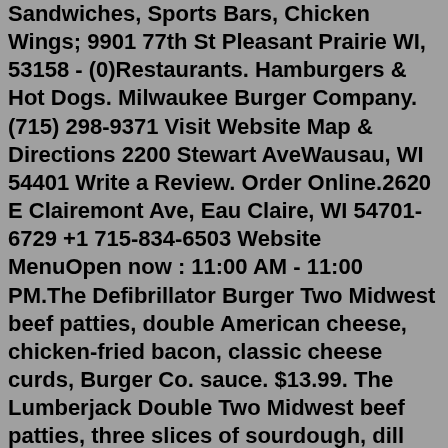Sandwiches, Sports Bars, Chicken Wings; 9901 77th St Pleasant Prairie WI, 53158 - (0)Restaurants. Hamburgers & Hot Dogs. Milwaukee Burger Company. (715) 298-9371 Visit Website Map & Directions 2200 Stewart AveWausau, WI 54401 Write a Review. Order Online.2620 E Clairemont Ave, Eau Claire, WI 54701-6729 +1 715-834-6503 Website MenuOpen now : 11:00 AM - 11:00 PM.The Defibrillator Burger Two Midwest beef patties, double American cheese, chicken-fried bacon, classic cheese curds, Burger Co. sauce. $13.99. The Lumberjack Double Two Midwest beef patties, three slices of sourdough, dill pickles, Wisconsin cheddar and swiss cheeses, burger co sauce and raw onions. $14.99. Pecanwood Smoked Bacon and Fajita Chicken Salad. $11.99. Fajita marinated chicken with peppers, onions, and roasted corn on top a bed of crisp chopped romaine lettuce, mixed greens, and shredded carrots. Sweet pecanwood smoked bacon, cheddar jack cheese, fresh tomatoes, and our spicy